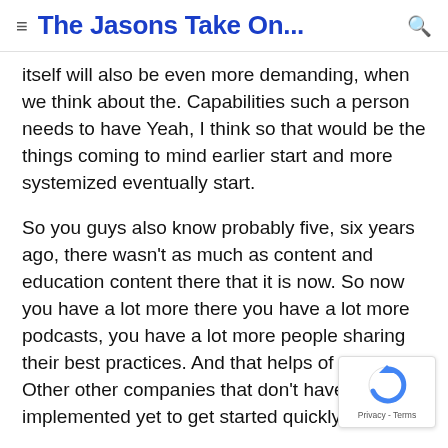≡ The Jasons Take On... 🔍
itself will also be even more demanding, when we think about the. Capabilities such a person needs to have Yeah, I think so that would be the things coming to mind earlier start and more systemized eventually start.
So you guys also know probably five, six years ago, there wasn't as much as content and education content there that it is now. So now you have a lot more there you have a lot more podcasts, you have a lot more people sharing their best practices. And that helps of course. Other other companies that don't have it implemented yet to get started quickly.
And the more efficient.